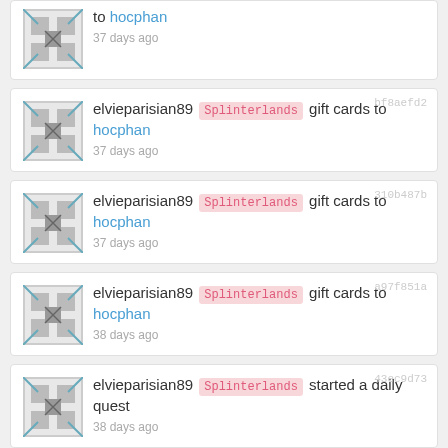elvieparisian89 Splinterlands gift cards to hocphan 37 days ago [partial, top cut off]
elvieparisian89 Splinterlands gift cards to hocphan 37 days ago bf8aefd2
elvieparisian89 Splinterlands gift cards to hocphan 37 days ago 310b487b
elvieparisian89 Splinterlands gift cards to hocphan 38 days ago a97f851a
elvieparisian89 Splinterlands started a daily quest 38 days ago 43ec9d73
elvieparisian89 Splinterlands claimed quest reward 3bef5b67